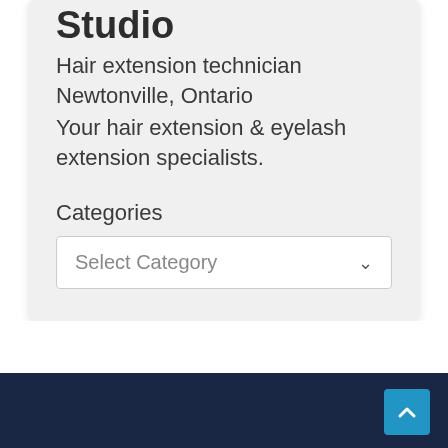Studio
Hair extension technician
Newtonville, Ontario
Your hair extension & eyelash extension specialists.
Categories
Select Category
Business Listings